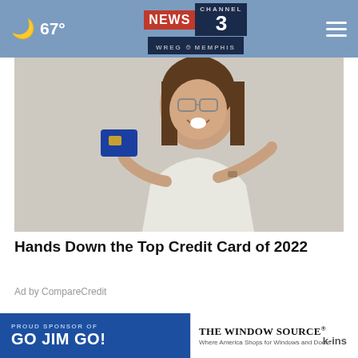🌙 67° | NEWS CHANNEL 3 WREG MEMPHIS
[Figure (photo): Woman in white shirt holding up a blue credit card with a chip and pointing at it, smiling excitedly, wearing glasses]
Hands Down the Top Credit Card of 2022
Ad by CompareCredit
MORE STORIES >
Family shot at while driving around car
[Figure (screenshot): Sponsor banner: PROUD SPONSOR OF GO JIM GO! with The Window Source logo — Where America Shops for Windows and Doors]
k-ins